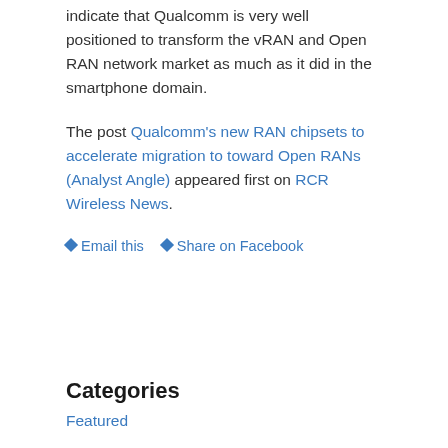indicate that Qualcomm is very well positioned to transform the vRAN and Open RAN network market as much as it did in the smartphone domain.
The post Qualcomm's new RAN chipsets to accelerate migration to toward Open RANs (Analyst Angle) appeared first on RCR Wireless News.
Email this
Share on Facebook
Categories
Featured